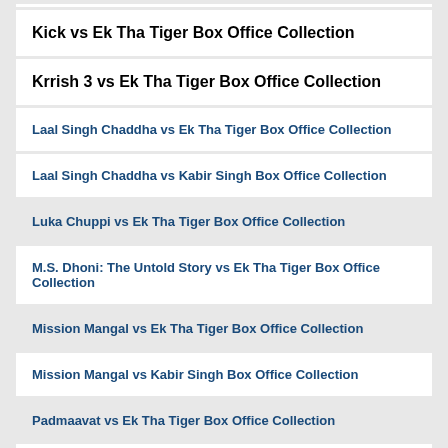Kick vs Ek Tha Tiger Box Office Collection
Krrish 3 vs Ek Tha Tiger Box Office Collection
Laal Singh Chaddha vs Ek Tha Tiger Box Office Collection
Laal Singh Chaddha vs Kabir Singh Box Office Collection
Luka Chuppi vs Ek Tha Tiger Box Office Collection
M.S. Dhoni: The Untold Story vs Ek Tha Tiger Box Office Collection
Mission Mangal vs Ek Tha Tiger Box Office Collection
Mission Mangal vs Kabir Singh Box Office Collection
Padmaavat vs Ek Tha Tiger Box Office Collection